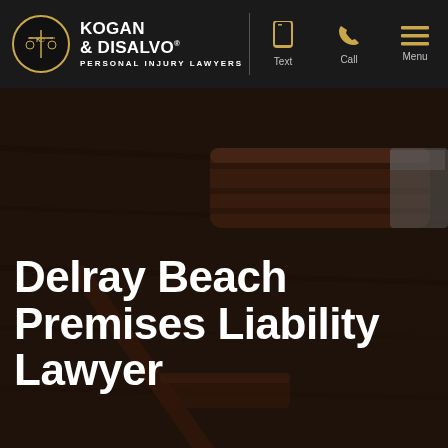Kogan & DiSalvo Personal Injury Lawyers — Text | Call | Menu
[Figure (photo): Dark background photo of a wooden judge's gavel on a wooden surface, with the law firm navigation header at top.]
Delray Beach Premises Liability Lawyer